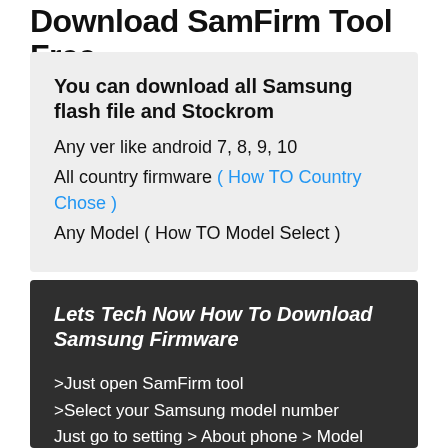Download SamFirm Tool Free
You can download all Samsung flash file and Stockrom
Any ver like android 7, 8, 9, 10
All country firmware ( How TO Country Chose )
Any Model ( How TO Model Select )
Lets Tech Now How To Download Samsung Firmware
>Just open SamFirm tool
>Select your Samsung model number
Just go to setting > About phone > Model Number